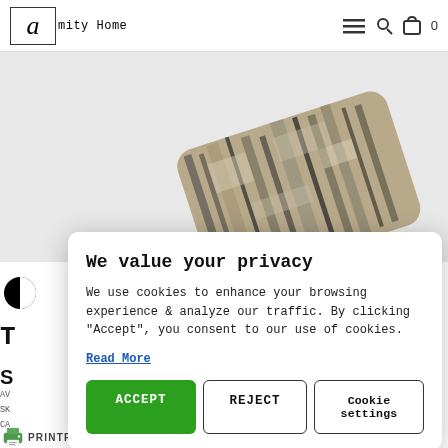Amity Home — navigation bar with hamburger menu, search icon, bag icon, 0
[Figure (photo): A decorative stone or marble tray with a distressed black and beige texture, photographed at an angle on a white background.]
We value your privacy
We use cookies to enhance your browsing experience & analyze our traffic. By clicking "Accept", you consent to our use of cookies.
Read More
ACCEPT   REJECT   Cookie settings
PRINTFRIENDLY